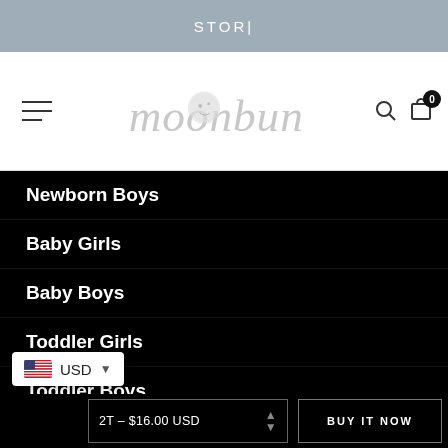STOR|
[Figure (logo): Moonbun baby clothing brand logo in light gray script/hand-lettering style]
Newborn Boys
Baby Girls
Baby Boys
Toddler Girls
Toddler Boys
Girls Onesies
Boys Onesies
USD
2T – $16.00 USD
BUY IT NOW